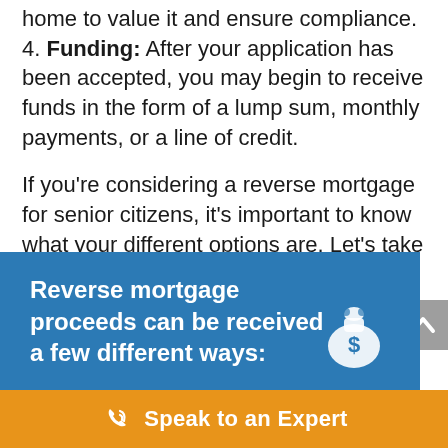home to value it and ensure compliance.
4. Funding: After your application has been accepted, you may begin to receive funds in the form of a lump sum, monthly payments, or a line of credit.
If you're considering a reverse mortgage for senior citizens, it's important to know what your different options are. Let's take a look at the different kinds of reverse mortgages for seniors that are available.
[Figure (infographic): Blue box with white bold text reading 'Reverse mortgage proceeds can be received a few different ways:' with a money bag icon on the right side]
Speak to an Expert